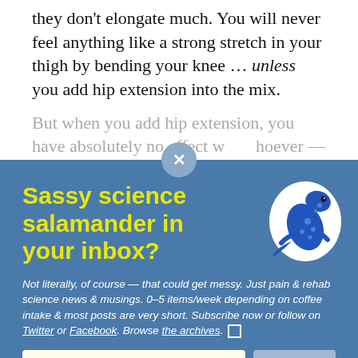they don't elongate much. You will never feel anything like a strong stretch in your thigh by bending your knee … unless you add hip extension into the mix.
But when you add hip extension, you have absolutely no effect whoever — zip, zero,
Sassy science salamander in your inbox?
[Figure (illustration): Blue spotted salamander illustration with white outline border]
Not literally, of course — that could get messy. Just pain & rehab science news & musings. 0–5 items/week depending on coffee intake & most posts are very short. Subscribe now or follow on Twitter or Facebook. Browse the archives. □